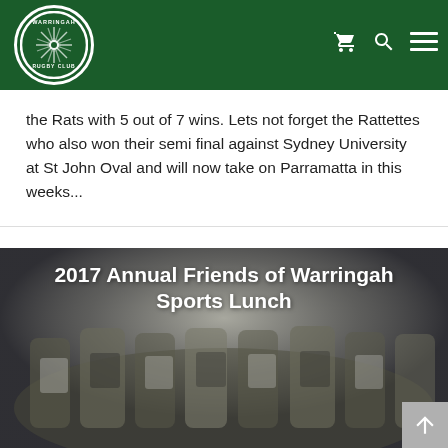[Figure (logo): Warringah Rugby Club circular logo with white border on dark green header background, with shopping cart, search, and menu icons on the right]
the Rats with 5 out of 7 wins. Lets not forget the Rattettes who also won their semi final against Sydney University at St John Oval and will now take on Parramatta in this weeks...
[Figure (photo): Group photo of Warringah rugby players celebrating, with overlaid bold text reading '2017 Annual Friends of Warringah Sports Lunch']
2017 Annual Friends of Warringah Sports Lunch